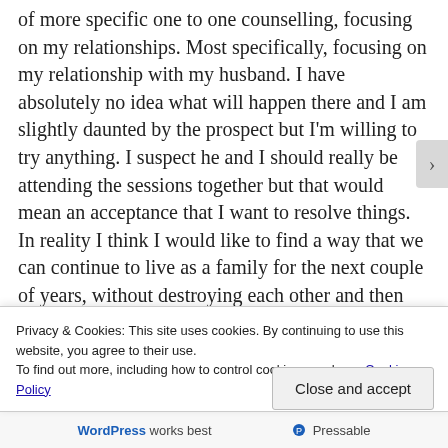of more specific one to one counselling, focusing on my relationships. Most specifically, focusing on my relationship with my husband. I have absolutely no idea what will happen there and I am slightly daunted by the prospect but I'm willing to try anything. I suspect he and I should really be attending the sessions together but that would mean an acceptance that I want to resolve things. In reality I think I would like to find a way that we can continue to live as a family for the next couple of years, without destroying each other and then decide what is best for us in the longer term. Maybe that's terribly naive of me but at the moment I am not ready to face up to the devastation and trauma of splitting up. I guess the counselling might help me work some of this stuff out. This is all part of growing and changing I guess.
Privacy & Cookies: This site uses cookies. By continuing to use this website, you agree to their use.
To find out more, including how to control cookies, see here: Cookie Policy
Close and accept
WordPress works best   Pressable